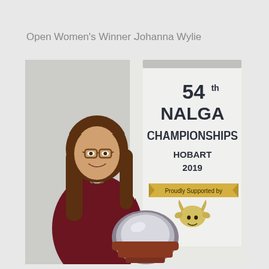Open Women's Winner Johanna Wylie
[Figure (photo): A woman with long brown hair and glasses, smiling and holding a large trophy/shield. She stands in front of a banner reading '54th NALGA CHAMPIONSHIPS HOBART 2019 Proudly Supported by' with a goat logo. The photo is taken indoors against a white wall.]